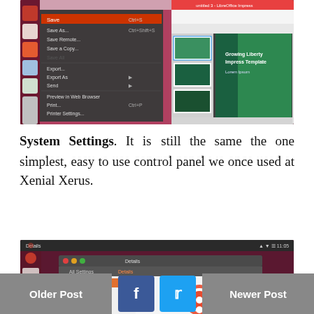[Figure (screenshot): LibreOffice Impress on Ubuntu with File menu open showing Save, Save As, Save Remote, Save a Copy, Export, Export As, Send, Preview in Web Browser, Print, Printer Settings, Properties, Digital Signatures, Exit LibreOffice options. Slide panel visible with a green presentation template slide titled 'Growing Liberty Impress Template'.]
System Settings. It is still the same the one simplest, easy to use control panel we once used at Xenial Xerus.
[Figure (screenshot): Ubuntu System Settings window showing Details panel with All Settings and Details tabs. Left panel shows Overview (highlighted in orange), Default Applications, Removable Media, Legal Notices. Ubuntu logo visible on the right side.]
Older Post   [Facebook] [Twitter]   Newer Post